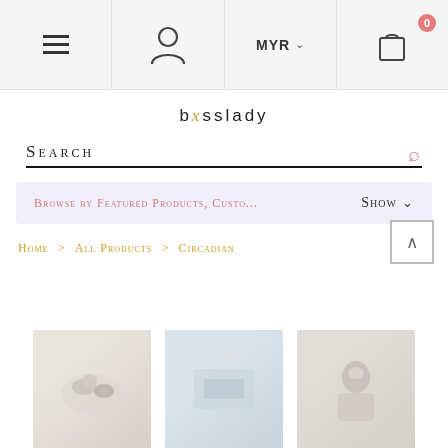Navigation bar with menu, user, currency (MYR), and cart (0) icons
bxsslady
Search
Browse by Featured Products, Custo...  Show ▾
Home  >  All Products  >  Circadian
[Figure (photo): Three product thumbnail images at bottom of page]
[Figure (photo): Second product thumbnail]
[Figure (photo): Third product thumbnail — woman illustration on light background]